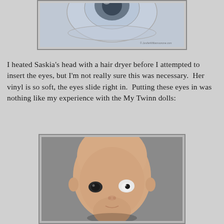[Figure (photo): Top portion of a photo showing a glass eye or doll eye in a circular transparent container, partially visible at top of page. Watermark text visible at bottom right of photo.]
I heated Saskia's head with a hair dryer before I attempted to insert the eyes, but I'm not really sure this was necessary.  Her vinyl is so soft, the eyes slide right in.  Putting these eyes in was nothing like my experience with the My Twinn dolls:
[Figure (photo): Photo of a bald doll head (reborn/vinyl baby doll) facing forward against a gray background. The left eye socket shows a white eye being inserted (partially visible, showing white with dark pupil), while the right eye shows a dark eye already installed. The doll head is peach/skin-toned vinyl.]